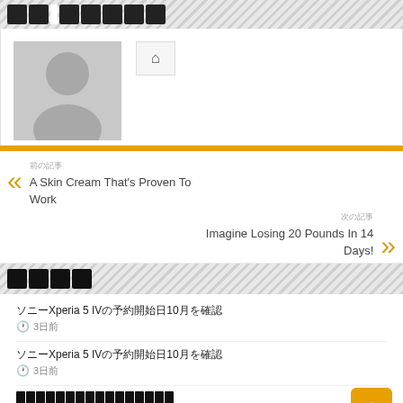XX XXXXX
[Figure (photo): Gray placeholder avatar silhouette with a home icon button to the right]
XXXX
前の記事
A Skin Cream That's Proven To Work
次の記事
Imagine Losing 20 Pounds In 14 Days!
XXXX
ソニーXperia 5 IVの予約開始日10月を確認
3日前
ソニーXperia 5 IVの予約開始日10月を確認
3日前
XXXXXXXXXXXXXXXXXXXXXXXXXXXXXXXX